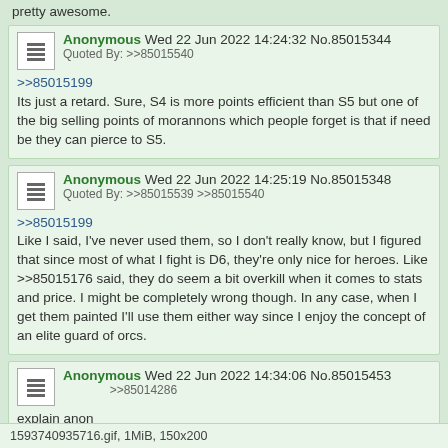pretty awesome.
Anonymous Wed 22 Jun 2022 14:24:32 No.85015344
Quoted By: >>85015540
>>85015199
Its just a retard. Sure, S4 is more points efficient than S5 but one of the big selling points of morannons which people forget is that if need be they can pierce to S5.
Anonymous Wed 22 Jun 2022 14:25:19 No.85015348
Quoted By: >>85015539 >>85015540
>>85015199
Like I said, I've never used them, so I don't really know, but I figured that since most of what I fight is D6, they're only nice for heroes. Like >>85015176 said, they do seem a bit overkill when it comes to stats and price. I might be completely wrong though. In any case, when I get them painted I'll use them either way since I enjoy the concept of an elite guard of orcs.
Anonymous Wed 22 Jun 2022 14:34:06 No.85015453
>>85014286
explain anon
1593740935716.gif, 1MiB, 150x200